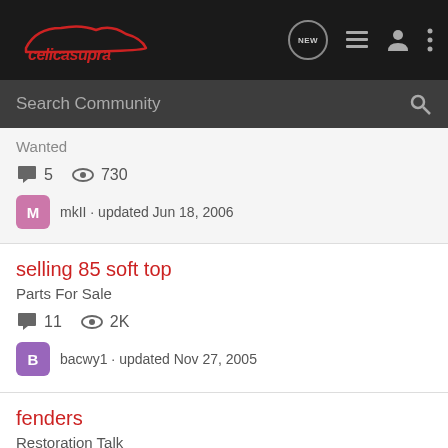celicasupra
Wanted
5 replies · 730 views · mkII · updated Jun 18, 2006
selling 85 soft top
Parts For Sale
11 replies · 2K views · bacwy1 · updated Nov 27, 2005
fenders
Restoration Talk
2 replies · 1K views